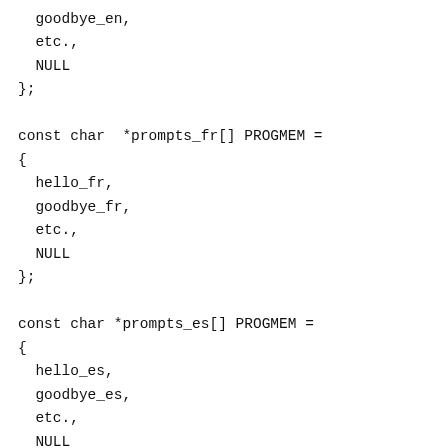goodbye_en,
  etc.,
  NULL
};

const char  *prompts_fr[] PROGMEM =
{
  hello_fr,
  goodbye_fr,
  etc.,
  NULL
};

const char *prompts_es[] PROGMEM =
{
  hello_es,
  goodbye_es,
  etc.,
  NULL
};